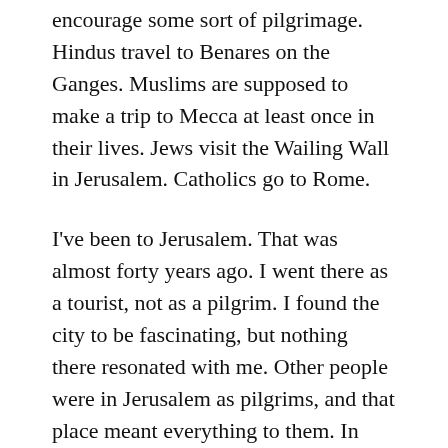encourage some sort of pilgrimage. Hindus travel to Benares on the Ganges. Muslims are supposed to make a trip to Mecca at least once in their lives. Jews visit the Wailing Wall in Jerusalem. Catholics go to Rome.
I've been to Jerusalem. That was almost forty years ago. I went there as a tourist, not as a pilgrim. I found the city to be fascinating, but nothing there resonated with me. Other people were in Jerusalem as pilgrims, and that place meant everything to them. In physical terms, Jerusalem was the same for me as it was for the pilgrims. However, our experiences were radically different. The difference was a result of who we were when we visited that city, and why we were there.